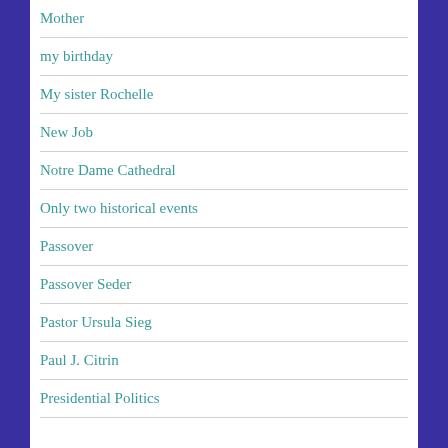Mother
my birthday
My sister Rochelle
New Job
Notre Dame Cathedral
Only two historical events
Passover
Passover Seder
Pastor Ursula Sieg
Paul J. Citrin
Presidential Politics